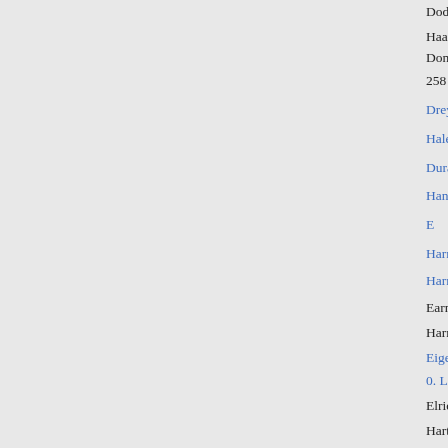Dodge et al. ads. Wing et al....
Haas et al v. Chicago Building
Donlin v. Duegling et al.... 608
258
Dreyer et al. o. Durana et al.... 5
Hale et al. v. Johnson... 185
Durand et al. ads. Dreyer et al. 5
Hanford v. Blessing.... 188
E
Harmon et al, ads. Niles et al.. 3
Harrer et al v. Wallner....... 197
Earnest ds. Stevison et al...... 511
Harris et al. o. Cornell et al... 54
Eigenmann, Admr. ads. Dinet. 21
0. Lester et al...... 307
Elridge o. Walker et al...... 270
Hartford Life and Annuity Ins.
Eiy o. Ely et al...